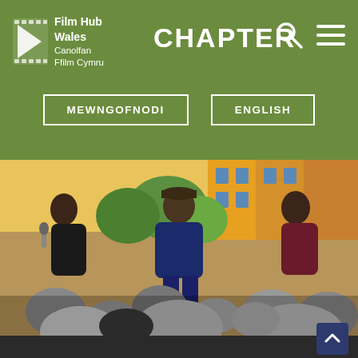Film Hub Wales Canolfan Ffilm Cymru — CHAPTER
MEWNGOFNODI
ENGLISH
[Figure (photo): Panel discussion event at Chapter arts centre. Three people seated on a stage in front of a colourful mural painting, laughing and clapping. An audience is visible from behind in the foreground.]